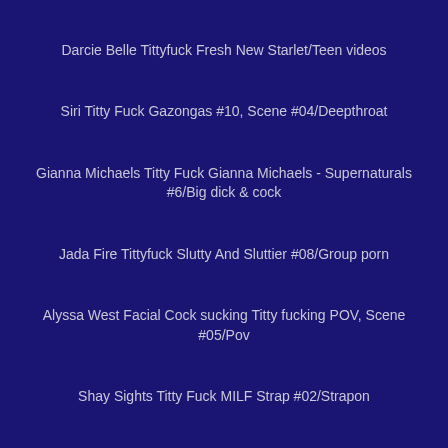Darcie Belle Tittyfuck Fresh New Starlet/Teen videos
Siri Titty Fuck Gazongas #10, Scene #04/Deepthroat
Gianna Michaels Titty Fuck Gianna Michaels - Supernaturals #6/Big dick & cock
Jada Fire Tittyfuck Slutty And Sluttier #08/Group porn
Alyssa West Facial Cock sucking Titty fucking POV, Scene #05/Pov
Shay Sights Titty Fuck MILF Strap #02/Strapon